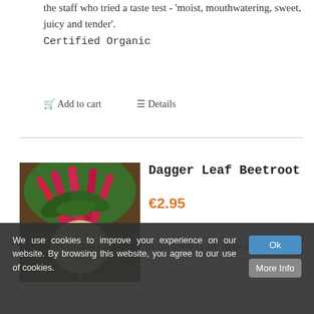the staff who tried a taste test - 'moist, mouthwatering, sweet, juicy and tender'. Certified Organic
🛒 Add to cart    ≡ Details
[Figure (photo): Photograph of a Dagger Leaf Beetroot plant with large pink/red stalks and a round pale-yellow root bulb growing in soil]
Dagger Leaf Beetroot
€2.95
The leaves of this variety, (from the 1800's) are indeed 'dagger' like,
We use cookies to improve your experience on our website. By browsing this website, you agree to our use of cookies.